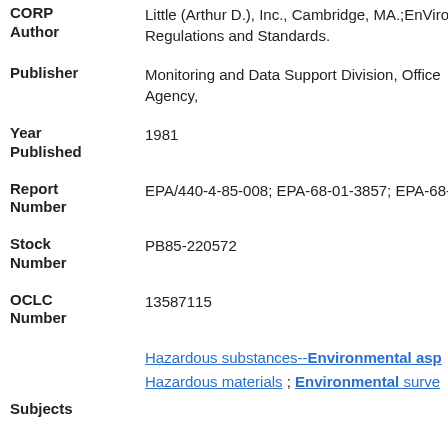| Field | Value |
| --- | --- |
| CORP Author | Little (Arthur D.), Inc., Cambridge, MA.;EnViro Regulations and Standards. |
| Publisher | Monitoring and Data Support Division, Office Agency, |
| Year Published | 1981 |
| Report Number | EPA/440-4-85-008; EPA-68-01-3857; EPA-68-0... |
| Stock Number | PB85-220572 |
| OCLC Number | 13587115 |
|  | Hazardous substances--Environmental asp... Hazardous materials ; Environmental surve... |